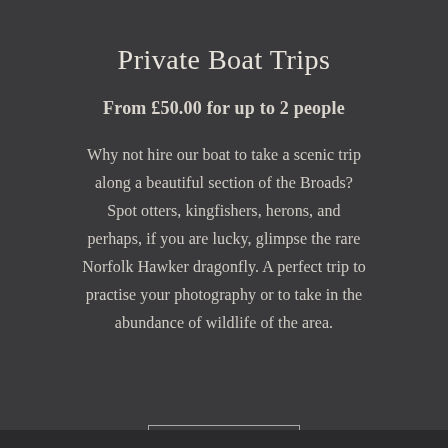Private Boat Trips
From £50.00 for up to 2 people
Why not hire our boat to take a scenic trip along a beautiful section of the Broads? Spot otters, kingfishers, herons, and perhaps, if you are lucky, glimpse the rare Norfolk Hawker dragonfly. A perfect trip to practise your photography or to take in the abundance of wildlife of the area.
Contact